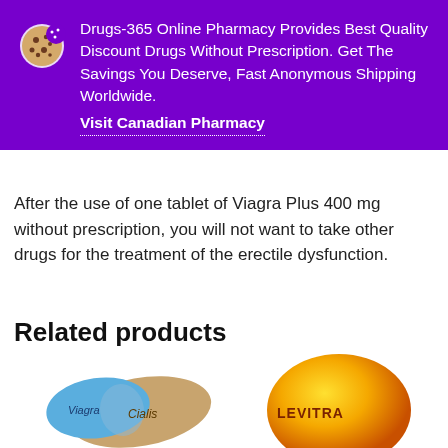[Figure (infographic): Purple banner with cookie/pill icon and pharmacy advertisement text]
After the use of one tablet of Viagra Plus 400 mg without prescription, you will not want to take other drugs for the treatment of the erectile dysfunction.
Related products
[Figure (photo): Viagra and Cialis pills side by side - blue and tan colored tablets]
[Figure (photo): Levitra pill - orange/yellow colored tablet]